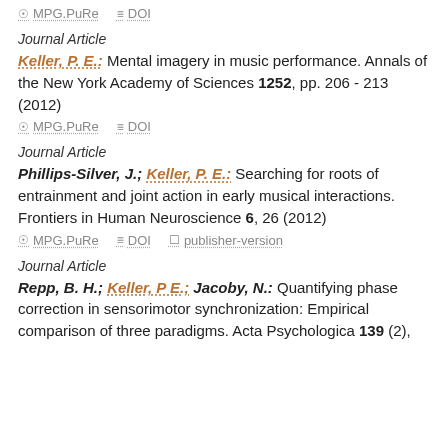MPG.PuRe  DOI
Journal Article
Keller, P. E.: Mental imagery in music performance. Annals of the New York Academy of Sciences 1252, pp. 206 - 213 (2012)
MPG.PuRe  DOI
Journal Article
Phillips-Silver, J.; Keller, P. E.: Searching for roots of entrainment and joint action in early musical interactions. Frontiers in Human Neuroscience 6, 26 (2012)
MPG.PuRe  DOI  publisher-version
Journal Article
Repp, B. H.; Keller, P E.; Jacoby, N.: Quantifying phase correction in sensorimotor synchronization: Empirical comparison of three paradigms. Acta Psychologica 139 (2),